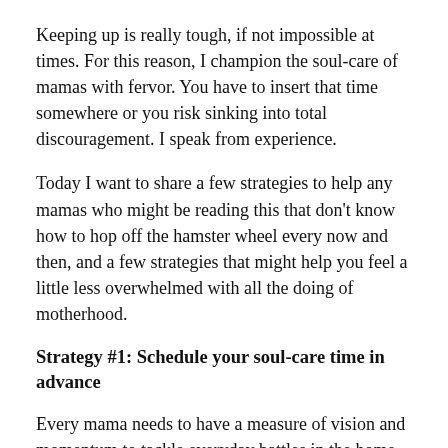Keeping up is really tough, if not impossible at times. For this reason, I champion the soul-care of mamas with fervor. You have to insert that time somewhere or you risk sinking into total discouragement. I speak from experience.
Today I want to share a few strategies to help any mamas who might be reading this that don't know how to hop off the hamster wheel every now and then, and a few strategies that might help you feel a little less overwhelmed with all the doing of motherhood.
Strategy #1: Schedule your soul-care time in advance
Every mama needs to have a measure of vision and momentum to tackle everyday battles in the home with any success. This might be accomplished by carving out morning devotional time, exercising, having a coffee date or play date with a friend, spending an evening with a good book, or getting out for a date night with